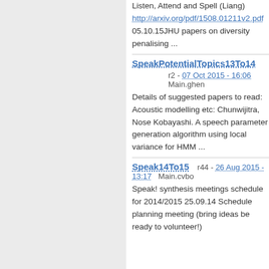Listen, Attend and Spell (Liang) http://arxiv.org/pdf/1508.01211v2.pdf 05.10.15JHU papers on diversity penalising ...
SpeakPotentialTopics13To14
r2 - 07 Oct 2015 - 16:06   Main.ghen
Details of suggested papers to read: Acoustic modelling etc: Chunwijitra, Nose Kobayashi. A speech parameter generation algorithm using local variance for HMM ...
Speak14To15
r44 - 26 Aug 2015 - 13:17   Main.cvbo
Speak! synthesis meetings schedule for 2014/2015 25.09.14 Schedule planning meeting (bring ideas be ready to volunteer!)